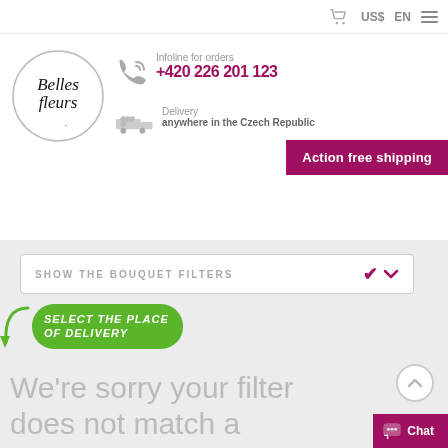US$ EN
[Figure (logo): Belles fleurs logo — cursive text inside a circle]
Infoline for orders +420 226 201 123
Delivery anywhere in the Czech Republic
Action free shipping
SHOW THE BOUQUET FILTERS
SELECT THE PLACE OF DELIVERY
We're sorry your filter does not match a